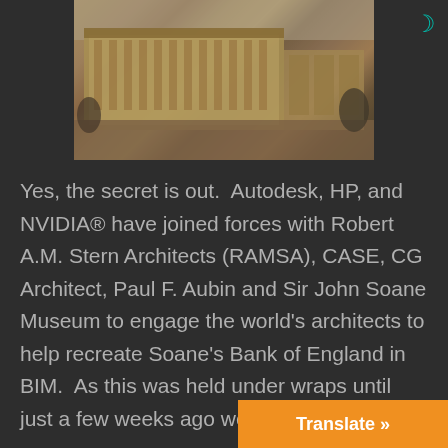[Figure (photo): Aerial or elevated view of a large classical European-style building complex, rendered in warm sandy/golden tones, appearing to be an architectural illustration or historical rendering of the Bank of England by Sir John Soane.]
Yes, the secret is out.  Autodesk, HP, and NVIDIA® have joined forces with Robert A.M. Stern Architects (RAMSA), CASE, CG Architect, Paul F. Aubin and Sir John Soane Museum to engage the world's architects to help recreate Soane's Bank of England in BIM.  As this was held under wraps until just a few weeks ago we were not ab
Translate »